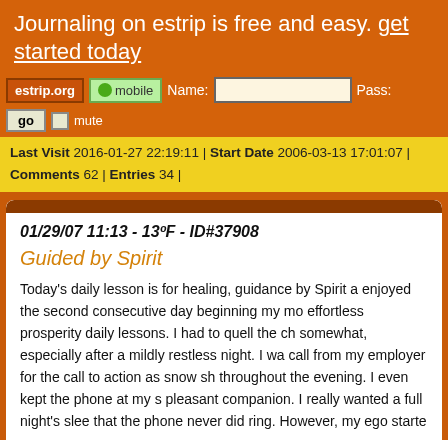Journaling on estrip is free and easy. get started today
estrip.org | mobile | Name: [input] | Pass: | go | mute
Last Visit 2016-01-27 22:19:11 | Start Date 2006-03-13 17:01:07 | Comments 62 | Entries 34 |
01/29/07 11:13 - 13ºF - ID#37908
Guided by Spirit
Today's daily lesson is for healing, guidance by Spirit a enjoyed the second consecutive day beginning my mo effortless prosperity daily lessons. I had to quell the ch somewhat, especially after a mildly restless night. I wa call from my employer for the call to action as snow sh throughout the evening. I even kept the phone at my s pleasant companion. I really wanted a full night's slee that the phone never did ring. However, my ego starte